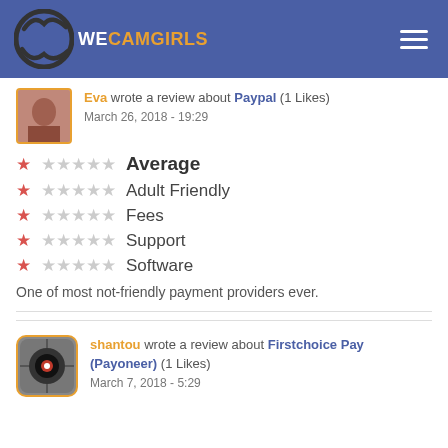WECAMGIRLS
Eva wrote a review about Paypal (1 Likes)
March 26, 2018 - 19:29
★☆☆☆☆ Average
★☆☆☆☆ Adult Friendly
★☆☆☆☆ Fees
★☆☆☆☆ Support
★☆☆☆☆ Software
One of most not-friendly payment providers ever.
shantou wrote a review about Firstchoice Pay (Payoneer) (1 Likes)
March 7, 2018 - 5:29